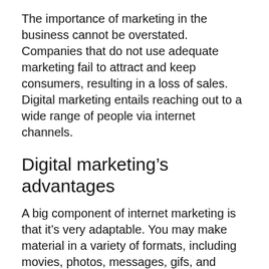The importance of marketing in the business cannot be overstated. Companies that do not use adequate marketing fail to attract and keep consumers, resulting in a loss of sales. Digital marketing entails reaching out to a wide range of people via internet channels.
Digital marketing’s advantages
A big component of internet marketing is that it’s very adaptable. You may make material in a variety of formats, including movies, photos, messages, gifs, and blogs. Depending on the impact you wish to achieve, you may also float your content between multiple platforms.
Digital marketing is a vast field that is simple to enter but challenging to master. You may broaden your reach and market to